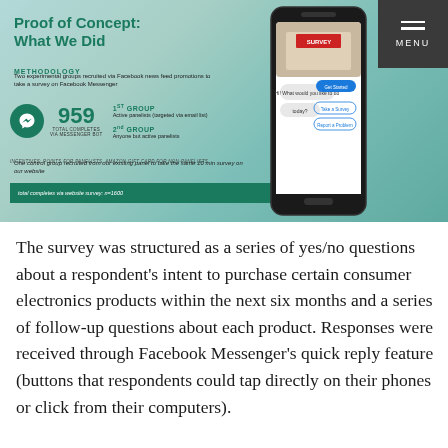[Figure (infographic): Infographic titled 'Proof of Concept: What We Did' describing methodology: Two experimental groups recruited via Facebook news feed promotions to take a survey on Facebook Messenger. 959 total completes via Messenger bot. 1st Group: Active panelists (targeted via email list). 2nd Group: Anyone but active panelists. Incentives: Points for panelists, Amazon gift card for non-panelists. One control group recruited from existing panel to take the same 10 min survey on website. Total completes via website survey: n=1600. Shows a smartphone with Facebook Messenger interface.]
The survey was structured as a series of yes/no questions about a respondent's intent to purchase certain consumer electronics products within the next six months and a series of follow-up questions about each product. Responses were received through Facebook Messenger's quick reply feature (buttons that respondents could tap directly on their phones or click from their computers).